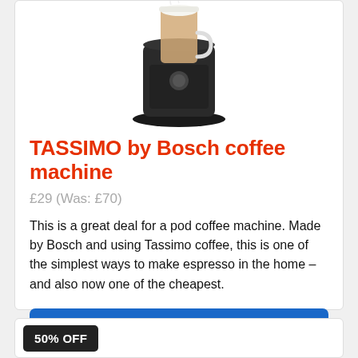[Figure (photo): TASSIMO by Bosch coffee machine product photo showing a black pod coffee machine with a tall latte glass on top]
TASSIMO by Bosch coffee machine
£29 (Was: £70)
This is a great deal for a pod coffee machine. Made by Bosch and using Tassimo coffee, this is one of the simplest ways to make espresso in the home – and also now one of the cheapest.
Buy now from Curry's
50% OFF